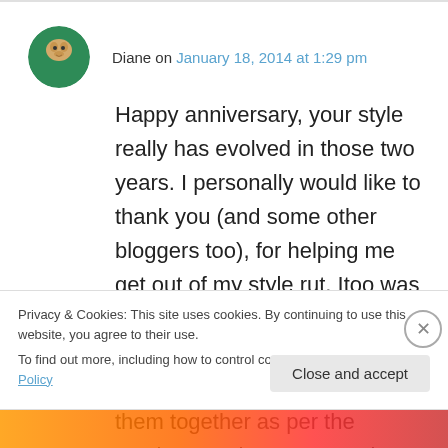Diane on January 18, 2014 at 1:29 pm
Happy anniversary, your style really has evolved in those two years. I personally would like to thank you (and some other bloggers too), for helping me get out of my style rut, Itoo was a boden fanatic, which was fine but as I had no confidence to style outfits myself, I just put them together as per the catelogue, whereas now I love mixing and matching from different shops,
Privacy & Cookies: This site uses cookies. By continuing to use this website, you agree to their use.
To find out more, including how to control cookies, see here: Cookie Policy